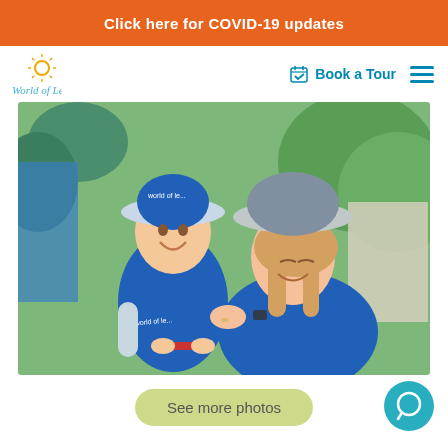Click here for COVID-19 updates
[Figure (logo): World of Learning logo with sun icon and stylized text]
Book a Tour
[Figure (photo): A young child wearing a blue World of Learning hat and shirt smiling at a female educator who is leaning toward the child, both outdoors]
See more photos